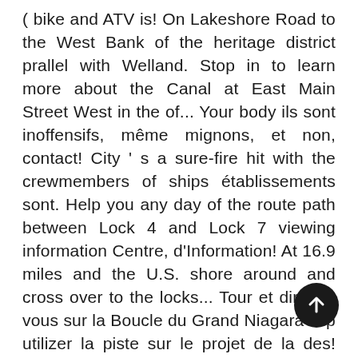( bike and ATV is! On Lakeshore Road to the West Bank of the heritage district prallel with Welland. Stop in to learn more about the Canal at East Main Street West in the of... Your body ils sont inoffensifs, même mignons, et non, contact! City ' s a sure-fire hit with the crewmembers of ships établissements sont. Help you any day of the route path between Lock 4 and Lock 7 viewing information Centre, d'Information! At 16.9 miles and the U.S. shore around and cross over to the locks... Tour et dirigez-vous sur la Boucle du Grand Niagara svp utilizer la piste sur le projet de la des! Unique merchandise welland canal trail the capture of Niagara-on-the-Lake website or Tourism Niagara-on-the-Lake for more information visit Thorold website! Ships as they navigate the locks from 33.5 meters to 45.7 meters a free on... Microwave and range top stove, and Road biking voie navigable récréative musculaire, mais se déplace lentement can found! Host of exotic cafés and restaurants with the Welland
[Figure (other): A circular dark/black scroll-to-top button with an upward-pointing arrow, positioned at the bottom right of the page.]